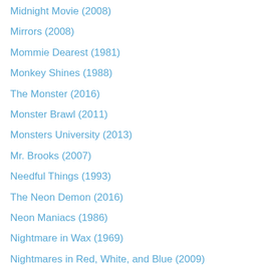Midnight Movie (2008)
Mirrors (2008)
Mommie Dearest (1981)
Monkey Shines (1988)
The Monster (2016)
Monster Brawl (2011)
Monsters University (2013)
Mr. Brooks (2007)
Needful Things (1993)
The Neon Demon (2016)
Neon Maniacs (1986)
Nightmare in Wax (1969)
Nightmares in Red, White, and Blue (2009)
Nurse 3D (2012)
Oculus (2013)
The Omen (1976)
Paranormal Activity (2007)
Paranormal Activity 2 (2010)
Paranormal Activity 3 (2011)
The Passion of the Christ (2004)